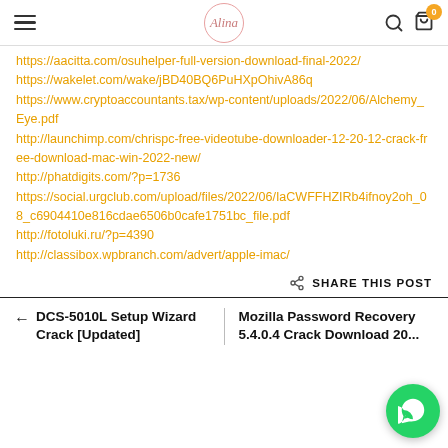≡   Alina   🔍  🛒 0
https://aacitta.com/osuhelper-full-version-download-final-2022/
https://wakelet.com/wake/jBD40BQ6PuHXpOhivA86q
https://www.cryptoaccountants.tax/wp-content/uploads/2022/06/Alchemy_Eye.pdf
http://launchimp.com/chrispc-free-videotube-downloader-12-20-12-crack-free-download-mac-win-2022-new/
http://phatdigits.com/?p=1736
https://social.urgclub.com/upload/files/2022/06/IaCWFFHZIRb4ifnoy2oh_08_c6904410e816cdae6506b0cafe1751bc_file.pdf
http://fotoluki.ru/?p=4390
http://classibox.wpbranch.com/advert/apple-imac/
SHARE THIS POST
← DCS-5010L Setup Wizard Crack [Updated]
Mozilla Password Recovery 5.4.0.4 Crack Download 20...